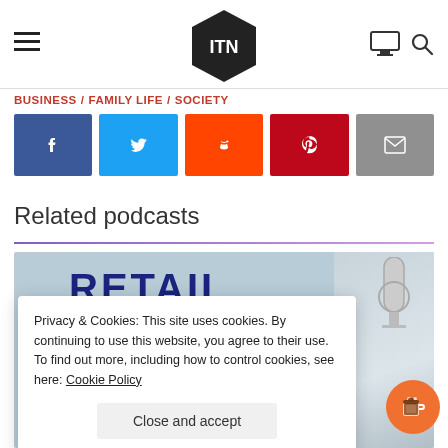ITN logo with hamburger menu, monitor icon, and search icon
BUSINESS / FAMILY LIFE / SOCIETY
[Figure (infographic): Social sharing buttons: Facebook, Twitter, Reddit, Pinterest, Email]
Related podcasts
[Figure (photo): Podcast thumbnail showing 'RETAIL' text in bold dark blue letters with microphone and people in background]
Privacy & Cookies: This site uses cookies. By continuing to use this website, you agree to their use. To find out more, including how to control cookies, see here: Cookie Policy
Close and accept